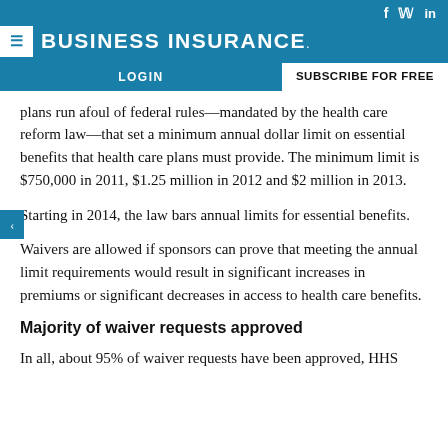BUSINESS INSURANCE
plans run afoul of federal rules—mandated by the health care reform law—that set a minimum annual dollar limit on essential benefits that health care plans must provide. The minimum limit is $750,000 in 2011, $1.25 million in 2012 and $2 million in 2013.
Starting in 2014, the law bars annual limits for essential benefits.
Waivers are allowed if sponsors can prove that meeting the annual limit requirements would result in significant increases in premiums or significant decreases in access to health care benefits.
Majority of waiver requests approved
In all, about 95% of waiver requests have been approved, HHS